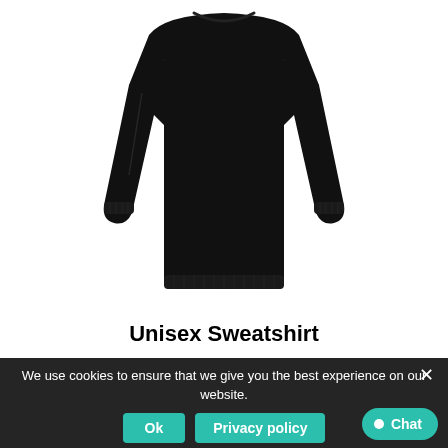[Figure (photo): A black unisex sweatshirt shown from the front, hanging or displayed, cropped to show the body and sleeves against a white background.]
Unisex Sweatshirt
We use cookies to ensure that we give you the best experience on our website.